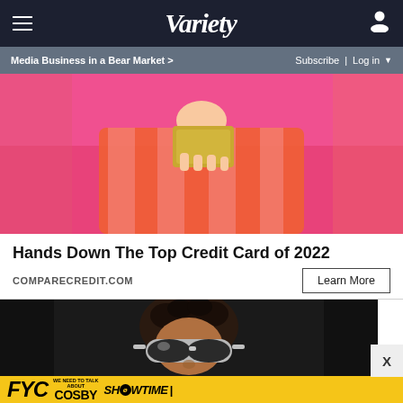Variety — Media Business in a Bear Market > | Subscribe | Log in
[Figure (photo): Person in orange and pink striped top holding a gold credit card in front of their face against a pink background]
Hands Down The Top Credit Card of 2022
COMPARECREDIT.COM
[Figure (photo): Young man wearing silver wraparound sunglasses against a dark background]
[Figure (photo): FYC advertisement banner: FYC We Need to Talk About Cosby — Showtime]